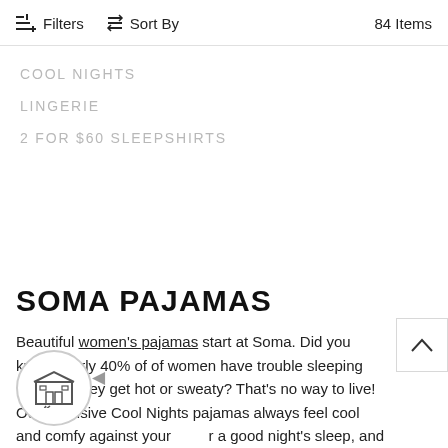Filters   Sort By   84 Items
COOL NIGHTS
LINGERIE
2 FOR $60 SLEEPSHIRTS
SOMA PAJAMAS
Beautiful women's pajamas start at Soma. Did you know nearly 40% of of women have trouble sleeping because they get hot or sweaty? That's no way to live! Our exclusive Cool Nights pajamas always feel cool and comfy against your skin for a good night's sleep, and are available in styles like tees, crops, pants, chemises, and more for your best sleep.